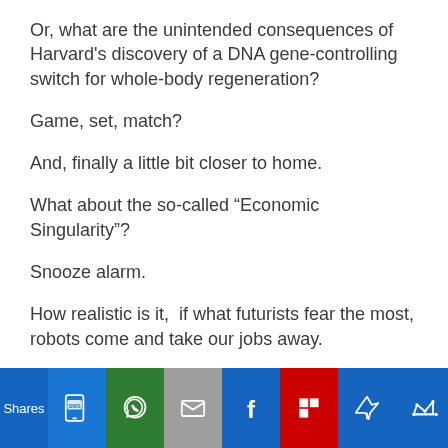Or, what are the unintended consequences of Harvard's discovery of a DNA gene-controlling switch for whole-body regeneration?
Game, set, match?
And, finally a little bit closer to home.
What about the so-called “Economic Singularity”?
Snooze alarm.
How realistic is it,  if what futurists fear the most, robots come and take our jobs away.
Yours, mine, theirs?
[Figure (infographic): Social share bar with icons: SMS (blue), WhatsApp (green), Email (gray), Facebook (blue), Flipboard (red), Pinterest pin (blue), Crown/other (blue). 'Shares' label on left.]